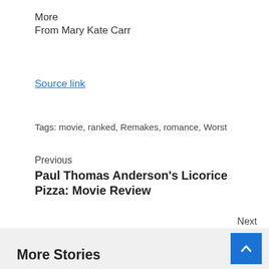More
From Mary Kate Carr
Source link
Tags: movie, ranked, Remakes, romance, Worst
Previous
Paul Thomas Anderson's Licorice Pizza: Movie Review
Next
Lee Yoo Bi Cast In Romance Movie To Be Filmed Entirely In New York
More Stories